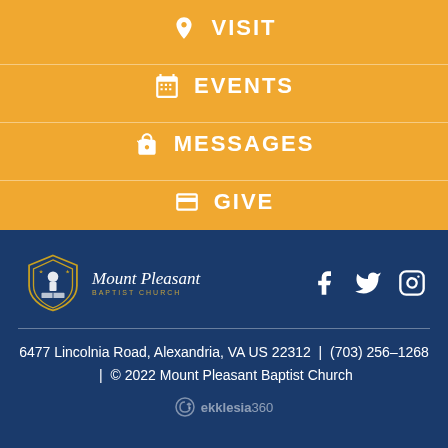VISIT
EVENTS
MESSAGES
GIVE
[Figure (logo): Mount Pleasant Baptist Church logo with shield emblem and italic script text]
[Figure (other): Social media icons: Facebook, Twitter, Instagram]
6477 Lincolnia Road, Alexandria, VA US 22312  |  (703) 256–1268  |  © 2022 Mount Pleasant Baptist Church
ekklesia360